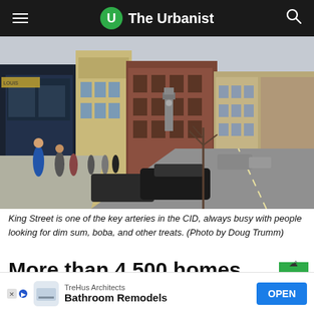The Urbanist
[Figure (photo): Street-level view of King Street in the CID (Chinatown-International District), showing pedestrians on the sidewalk, parked and moving vehicles, historic brick buildings, and a clock tower visible in the distance. Overcast winter day.]
King Street is one of the key arteries in the CID, always busy with people looking for dim sum, boba, and other treats. (Photo by Doug Trumm)
More than 4,500 homes have been constructed, permitted, or p